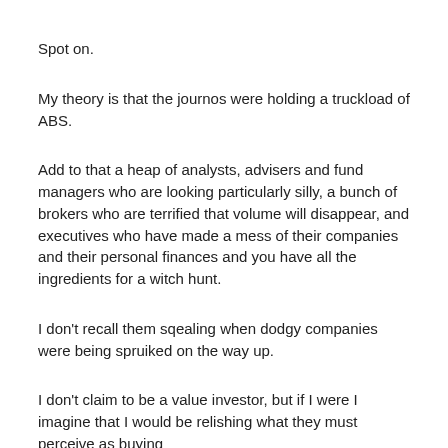Spot on.
My theory is that the journos were holding a truckload of ABS.
Add to that a heap of analysts, advisers and fund managers who are looking particularly silly, a bunch of brokers who are terrified that volume will disappear, and executives who have made a mess of their companies and their personal finances and you have all the ingredients for a witch hunt.
I don't recall them sqealing when dodgy companies were being spruiked on the way up.
I don't claim to be a value investor, but if I were I imagine that I would be relishing what they must perceive as buying